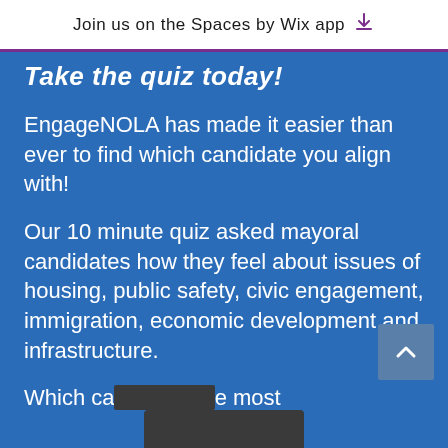Join us on the Spaces by Wix app
Take the quiz today!
EngageNOLA has made it easier than ever to find which candidate you align with!
Our 10 minute quiz asked mayoral candidates how they feel about issues of housing, public safety, civic engagement, immigration, economic development and infrastructure.
Which ca [obscured] e most